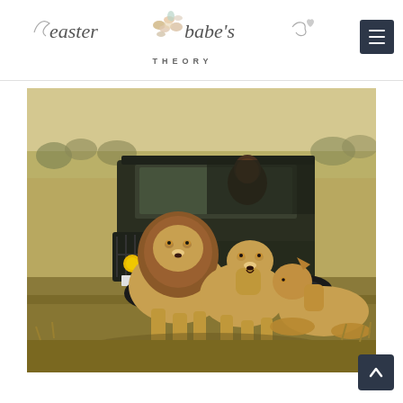easter babe's THEORY — navigation header with logo and menu button
[Figure (photo): Safari scene with three lions (one male with mane, two females) standing near a parked dark green 4x4 safari jeep vehicle in a dry grassland. A person is visible inside the vehicle.]
[Figure (other): Back-to-top button (dark navy square with upward chevron arrow) in bottom right corner]